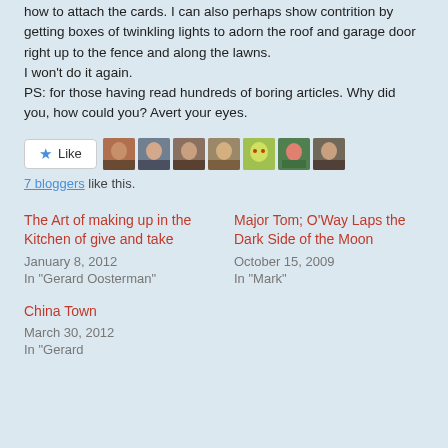how to attach the cards. I can also perhaps show contrition by getting boxes of twinkling lights to adorn the roof and garage door right up to the fence and along the lawns.
I won't do it again.
PS: for those having read hundreds of boring articles. Why did you, how could you? Avert your eyes.
[Figure (other): Like button and 7 blogger avatar thumbnails]
7 bloggers like this.
The Art of making up in the Kitchen of give and take
January 8, 2012
In "Gerard Oosterman"
Major Tom; O'Way Laps the Dark Side of the Moon
October 15, 2009
In "Mark"
China Town
March 30, 2012
In "Gerard